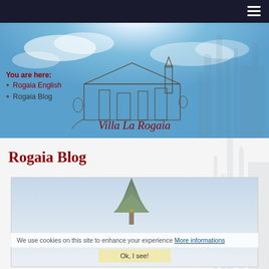Navigation bar with hamburger menu
[Figure (photo): Hero image showing blue sky with sunburst and a faded castle/village silhouette on the right side. Center features a line-drawing sketch of Villa La Rogaia village with the text 'Villa La Rogaia' in red italic serif font below it.]
You are here:
Rogaia English
Rogaia Blog
Rogaia Blog
[Figure (photo): Blog post thumbnail image showing a winter outdoor scene with trees and a light blue/white sky, partially obscured by cookie consent banner.]
We use cookies on this site to enhance your experience More informations
Ok, I see!